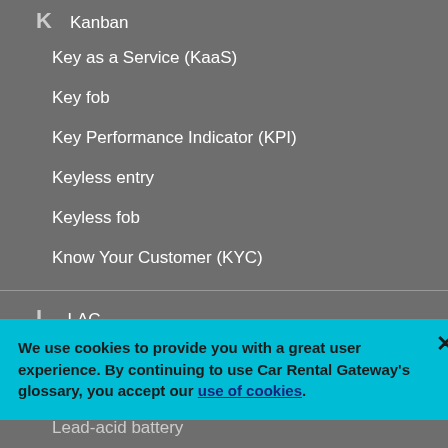K
Kanban
Key as a Service (KaaS)
Key fob
Key Performance Indicator (KPI)
Keyless entry
Keyless fob
Know Your Customer (KYC)
L
LAC
Lane centering assist (LCA)
Lane departure warning (LDW)
We use cookies to provide you with a great user experience. By continuing to use Car Rental Gateway's glossary, you accept our use of cookies.
Lead-acid battery